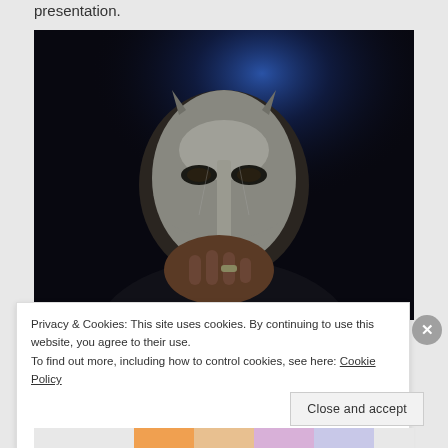presentation.
[Figure (photo): Person wearing a silver metallic mask (MF DOOM style), holding the mask with one hand, dramatic blue spotlight on dark background.]
Privacy & Cookies: This site uses cookies. By continuing to use this website, you agree to their use.
To find out more, including how to control cookies, see here: Cookie Policy
Close and accept